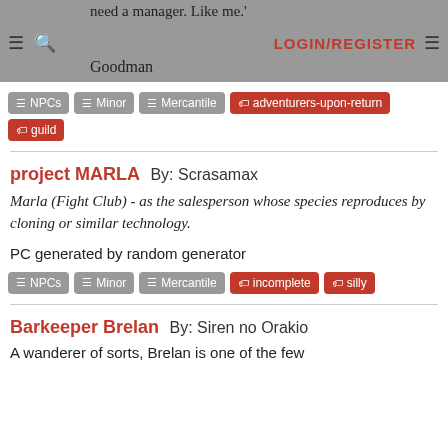need a manager. Like me.' Goodman LOGIN/REGISTER
NPCs | Minor | Mercantile | adventurers-upon-return | guild
project MARLA By: Scrasamax
Marla (Fight Club) - as the salesperson whose species reproduces by cloning or similar technology.
PC generated by random generator
NPCs | Minor | Mercantile | incomplete | silly
Barkeeper Brelan By: Siren no Orakio
A wanderer of sorts, Brelan is one of the few